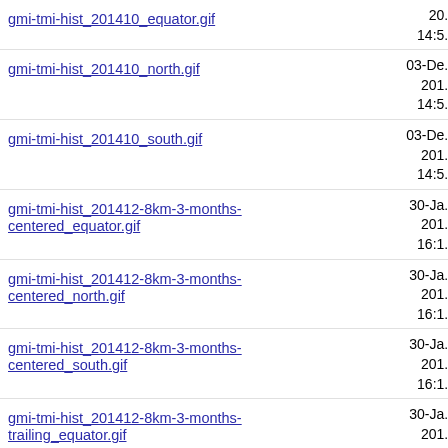gmi-tmi-hist_201410_equator.gif  20... 14:5...
gmi-tmi-hist_201410_north.gif  03-De... 201... 14:5...
gmi-tmi-hist_201410_south.gif  03-De... 201... 14:5...
gmi-tmi-hist_201412-8km-3-months-centered_equator.gif  30-Ja... 201... 16:1...
gmi-tmi-hist_201412-8km-3-months-centered_north.gif  30-Ja... 201... 16:1...
gmi-tmi-hist_201412-8km-3-months-centered_south.gif  30-Ja... 201... 16:1...
gmi-tmi-hist_201412-8km-3-months-trailing_equator.gif  30-Ja... 201... 15:4...
gmi-tmi-hist_201412-8km-3-months-trailing_north.gif  30-Ja... 201... 15:4...